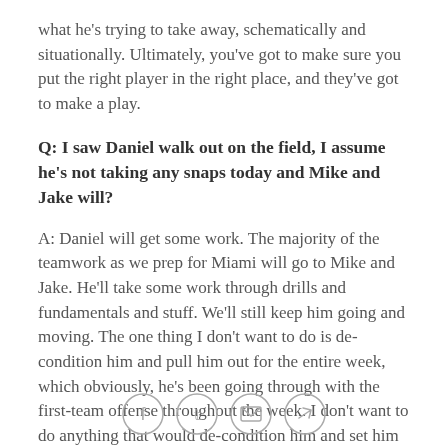what he's trying to take away, schematically and situationally. Ultimately, you've got to make sure you put the right player in the right place, and they've got to make a play.
Q: I saw Daniel walk out on the field, I assume he's not taking any snaps today and Mike and Jake will?
A: Daniel will get some work. The majority of the teamwork as we prep for Miami will go to Mike and Jake. He'll take some work through drills and fundamentals and stuff. We'll still keep him going and moving. The one thing I don't want to do is de-condition him and pull him out for the entire week, which obviously, he's been going through with the first-team offense throughout the week. I don't want to do anything that would de-condition him and set him back
[Figure (infographic): Social media sharing icons: Facebook, Twitter, Email, Link]